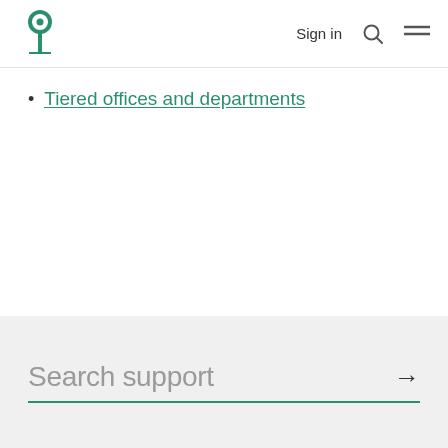Sign in
Tiered offices and departments
Search support